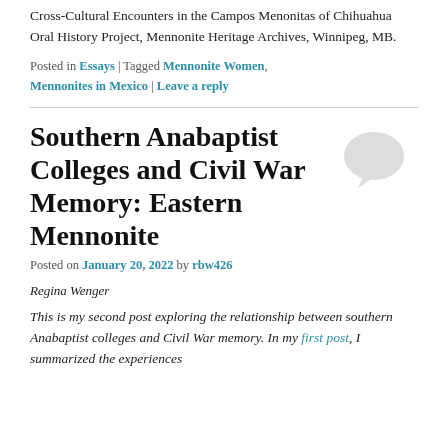Cross-Cultural Encounters in the Campos Menonitas of Chihuahua Oral History Project, Mennonite Heritage Archives, Winnipeg, MB.
Posted in Essays | Tagged Mennonite Women, Mennonites in Mexico | Leave a reply
Southern Anabaptist Colleges and Civil War Memory: Eastern Mennonite
Posted on January 20, 2022 by rbw426
Regina Wenger
This is my second post exploring the relationship between southern Anabaptist colleges and Civil War memory. In my first post, I summarized the experiences